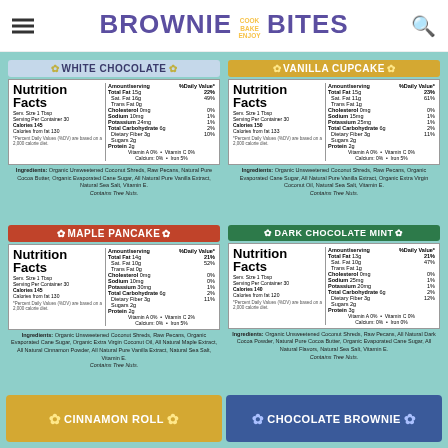BROWNIE COOK BAKE ENJOY BITES
WHITE CHOCOLATE
|  | Amount/serving | %Daily Value* |
| --- | --- | --- |
| Total Fat 15g |  | 22% |
| Sat. Fat 16g |  | 49% |
| Trans Fat 0g |  |  |
| Cholesterol 0mg |  | 0% |
| Sodium 10mg |  | 1% |
| Potassium 24mg |  | 1% |
| Total Carbohydrate 6g |  | 2% |
| Dietary Fiber 3g |  | 10% |
| Sugars 2g |  |  |
| Protein 2g |  |  |
Ingredients: Organic Unsweetened Coconut Shreds, Raw Pecans, Natural Pure Cocoa Butter, Organic Evaporated Cane Sugar, All Natural Pure Vanilla Extract, Natural Sea Salt, Vitamin E. Contains Tree Nuts.
VANILLA CUPCAKE
|  | Amount/serving | %Daily Value* |
| --- | --- | --- |
| Total Fat 15g |  | 23% |
| Sat. Fat 11g |  | 61% |
| Trans Fat 1g |  |  |
| Cholesterol 0mg |  | 0% |
| Sodium 15mg |  | 1% |
| Potassium 25mg |  | 1% |
| Total Carbohydrate 6g |  | 2% |
| Dietary Fiber 3g |  | 11% |
| Sugars 2g |  |  |
| Protein 2g |  |  |
Ingredients: Organic Unsweetened Coconut Shreds, Raw Pecans, Organic Evaporated Cane Sugar, All Natural Pure Vanilla Extract, Organic Extra Virgin Coconut Oil, Natural Sea Salt, Vitamin E. Contains Tree Nuts.
MAPLE PANCAKE
|  | Amount/serving | %Daily Value* |
| --- | --- | --- |
| Total Fat 14g |  | 21% |
| Sat. Fat 10g |  | 52% |
| Trans Fat 0g |  |  |
| Cholesterol 0mg |  | 0% |
| Sodium 10mg |  | 0% |
| Potassium 30mg |  | 1% |
| Total Carbohydrate 6g |  | 2% |
| Dietary Fiber 3g |  | 11% |
| Sugars 2g |  |  |
| Protein 2g |  |  |
Ingredients: Organic Unsweetened Coconut Shreds, Raw Pecans, Organic Evaporated Cane Sugar, Organic Extra Virgin Coconut Oil, All Natural Maple Extract, All Natural Cinnamon Powder, All Natural Pure Vanilla Extract, Natural Sea Salt, Vitamin E. Contains Tree Nuts.
DARK CHOCOLATE MINT
|  | Amount/serving | %Daily Value* |
| --- | --- | --- |
| Total Fat 13g |  | 21% |
| Sat. Fat 10g |  | 47% |
| Trans Fat 1g |  |  |
| Cholesterol 0mg |  | 0% |
| Sodium 25mg |  | 1% |
| Potassium 20mg |  | 1% |
| Total Carbohydrate 6g |  | 2% |
| Dietary Fiber 3g |  | 12% |
| Sugars 2g |  |  |
| Protein 3g |  |  |
Ingredients: Organic Unsweetened Coconut Shreds, Raw Pecans, All Natural Dark Cocoa Powder, Natural Pure Cocoa Butter, Organic Evaporated Cane Sugar, All Natural Flavors, Natural Sea Salt, Vitamin E. Contains Tree Nuts.
CINNAMON ROLL
CHOCOLATE BROWNIE